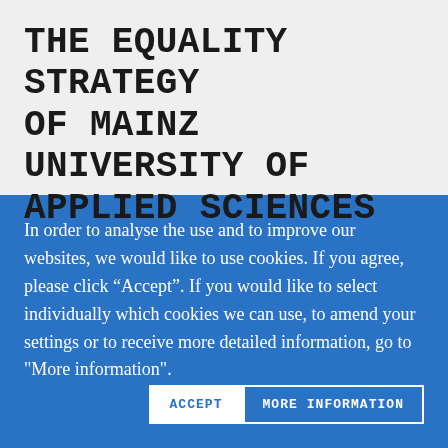THE EQUALITY STRATEGY OF MAINZ UNIVERSITY OF APPLIED SCIENCES
In order to analyse the use and to improve our websites, we would like to use cookies. If you agree, please click “Accept”. If you would like to select individually which cookies we can use, to amend your settings or to receive more detailed information, go to "More information".